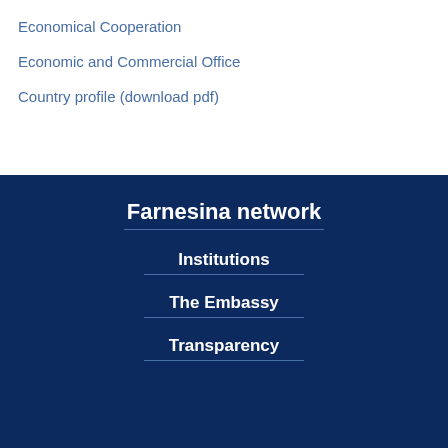Economical Cooperation
Economic and Commercial Office
Country profile (download pdf)
Farnesina network
Institutions
The Embassy
Transparency